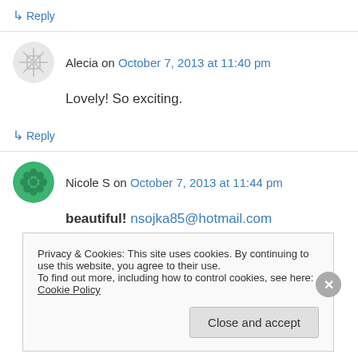↳ Reply
Alecia on October 7, 2013 at 11:40 pm
Lovely! So exciting.
↳ Reply
Nicole S on October 7, 2013 at 11:44 pm
beautiful! nsojka85@hotmail.com
Privacy & Cookies: This site uses cookies. By continuing to use this website, you agree to their use. To find out more, including how to control cookies, see here: Cookie Policy
Close and accept